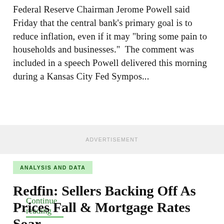Federal Reserve Chairman Jerome Powell said Friday that the central bank's primary goal is to reduce inflation, even if it may "bring some pain to households and businesses." The comment was included in a speech Powell delivered this morning during a Kansas City Fed Sympos...
Continue reading >
ADVERTISEMENT
ANALYSIS AND DATA
Redfin: Sellers Backing Off As Prices Fall & Mortgage Rates Soar...